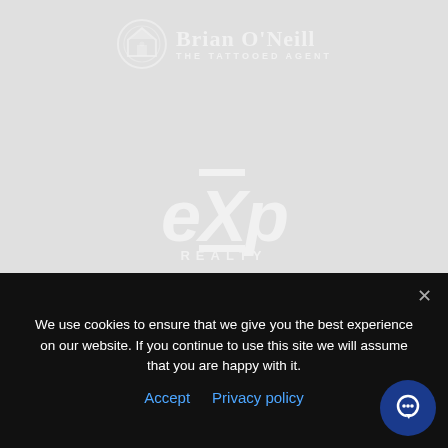[Figure (logo): Brian O'Neill The Tattooed Agent logo with circular house icon, white, semi-transparent, at top center]
[Figure (logo): eXp Realty logo in large italic white text, semi-transparent, centered on gray background]
CONTACT US
Brian O'Neill
The Tattooed Agent®
We use cookies to ensure that we give you the best experience on our website. If you continue to use this site we will assume that you are happy with it.
Accept   Privacy policy